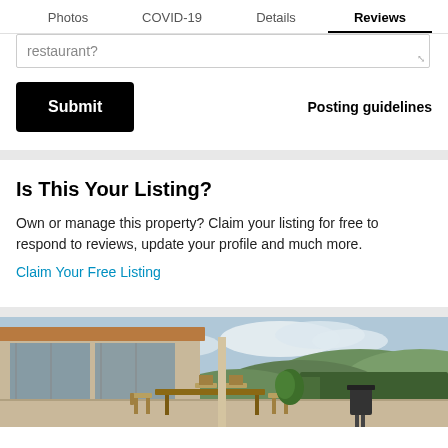Photos  COVID-19  Details  Reviews
restaurant?
Submit
Posting guidelines
Is This Your Listing?
Own or manage this property? Claim your listing for free to respond to reviews, update your profile and much more.
Claim Your Free Listing
[Figure (photo): Outdoor patio of a modern house with wooden dining table and chairs, large glass sliding doors, surrounded by green trees and hills in the background under a cloudy sky.]